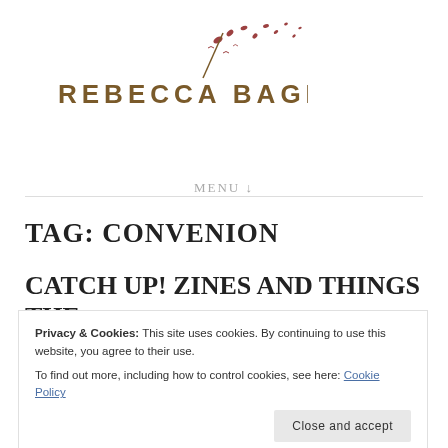[Figure (logo): Rebecca Bagley handwritten-style logo with decorative leaves/birds scattered around the text]
MENU ↓
TAG: CONVENION
CATCH UP! ZINES AND THINGS THE
Privacy & Cookies: This site uses cookies. By continuing to use this website, you agree to their use.
To find out more, including how to control cookies, see here: Cookie Policy
Close and accept
Tagged art fair BCZE bristol comic book comics convenion